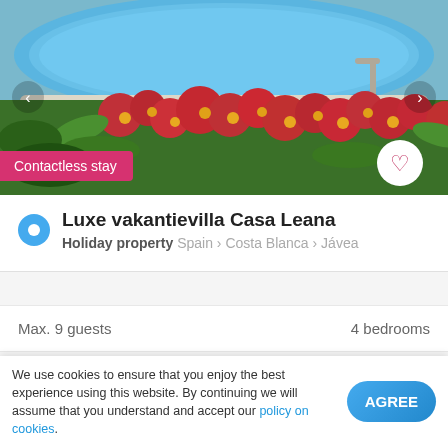[Figure (photo): Swimming pool with blue water and red flowers/garden, with navigation arrows and a heart button]
Contactless stay
Luxe vakantievilla Casa Leana
Holiday property  Spain > Costa Blanca > Jávea
Max. 9 guests    4 bedrooms
[Figure (photo): Coastal sea view with yellow 'From €10' badge overlay]
We use cookies to ensure that you enjoy the best experience using this website. By continuing we will assume that you understand and accept our policy on cookies.
AGREE